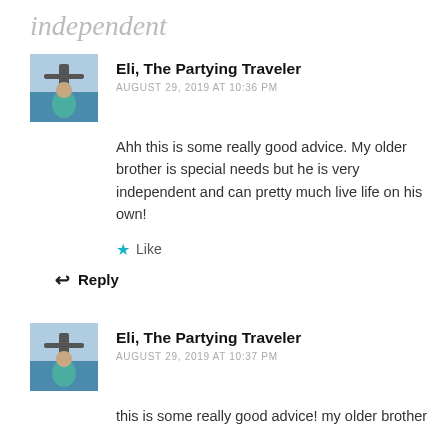independent
[Figure (photo): Avatar photo of Eli, The Partying Traveler - showing a person with Christ the Redeemer statue in background]
Eli, The Partying Traveler
AUGUST 29, 2019 AT 10:36 PM
Ahh this is some really good advice. My older brother is special needs but he is very independent and can pretty much live life on his own!
Like
Reply
[Figure (photo): Avatar photo of Eli, The Partying Traveler - showing a person with Christ the Redeemer statue in background]
Eli, The Partying Traveler
AUGUST 29, 2019 AT 10:37 PM
this is some really good advice! my older brother